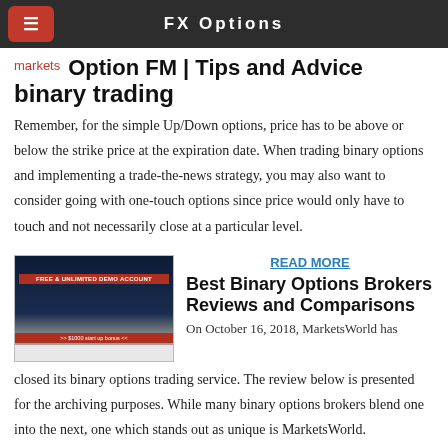FX Options
markets
Option FM | Tips and Advice binary trading
Remember, for the simple Up/Down options, price has to be above or below the strike price at the expiration date. When trading binary options and implementing a trade-the-news strategy, you may also want to consider going with one-touch options since price would only have to touch and not necessarily close at a particular level.
[Figure (screenshot): Screenshot of a trading platform showing a free and unlimited demo account banner with '$1000 start up bonus' at the bottom]
READ MORE
Best Binary Options Brokers Reviews and Comparisons
On October 16, 2018, MarketsWorld has closed its binary options trading service. The review below is presented for the archiving purposes. While many binary options brokers blend one into the next, one which stands out as unique is MarketsWorld.